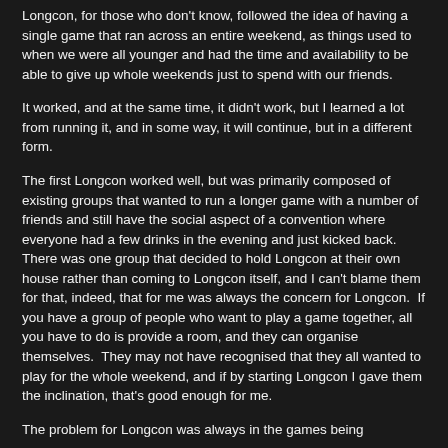Longcon, for those who don't know, followed the idea of having a single game that ran across an entire weekend, as things used to when we were all younger and had the time and availability to be able to give up whole weekends just to spend with our friends.
It worked, and at the same time, it didn't work, but I learned a lot from running it, and in some way, it will continue, but in a different form.
The first Longcon worked well, but was primarily composed of existing groups that wanted to run a longer game with a number of friends and still have the social aspect of a convention where everyone had a few drinks in the evening and just kicked back.  There was one group that decided to hold Longcon at their own house rather than coming to Longcon itself, and I can't blame them for that, indeed, that for me was always the concern for Longcon.  If you have a group of people who want to play a game together, all you have to do is provide a room, and they can organise themselves.  They may not have recognised that they all wanted to play for the whole weekend, and if by starting Longcon I gave them the inclination, that's good enough for me.
The problem for Longcon was always in the games being...